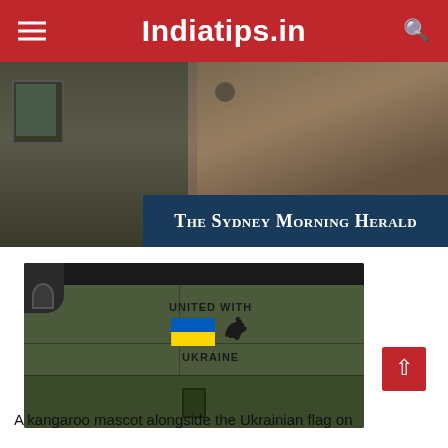Indiatips.in
[Figure (photo): Military vehicle photo with The Sydney Morning Herald overlay in dark blue]
[Figure (photo): Close-up of a military vehicle with a 'United With Ukraine' sticker showing the Ukrainian flag and kangaroo mascot]
A kangaroo mascot alongside the Ukrainian flag on